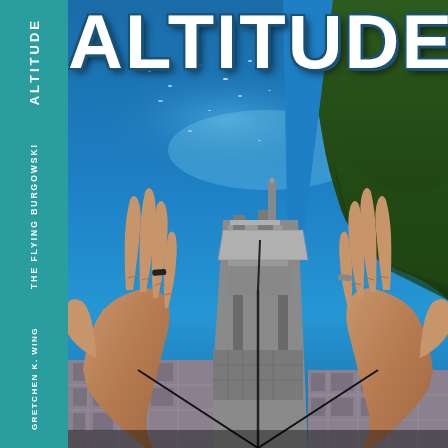[Figure (photo): Book cover for 'Altitude: The Flying Burgowski' by Gretchen K. Wing. The main cover shows an aerial photograph looking down at a port/industrial facility and a fjord with blue water, forested hillside on the right, and two hands gripping what appears to be a rope or wire in the foreground, as if dangling or flying. The book spine on the left is teal/turquoise colored and shows the title 'ALTITUDE', subtitle 'THE FLYING BURGOWSKI', and author name 'Gretchen K. Wing' in white vertical text.]
ALTITUDE
THE FLYING BURGOWSKI
Gretchen K. Wing